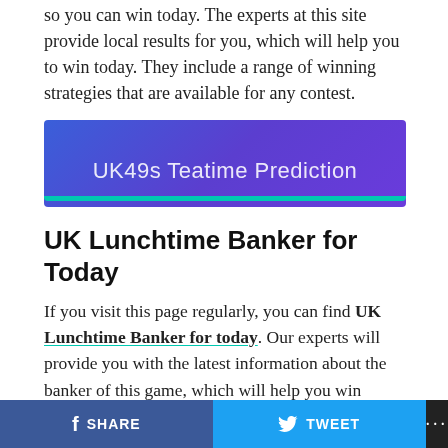so you can win today. The experts at this site provide local results for you, which will help you to win today. They include a range of winning strategies that are available for any contest.
[Figure (other): Blue/purple gradient banner button with teal bottom bar reading 'UK49s Teatime Prediction']
UK Lunchtime Banker for Today
If you visit this page regularly, you can find UK Lunchtime Banker for today. Our experts will provide you with the latest information about the banker of this game, which will help you win today. They include a range of winning strategies that are available for any contest. The UK Lunchtime Hot Banker for today is for
SHARE   TWEET   ...